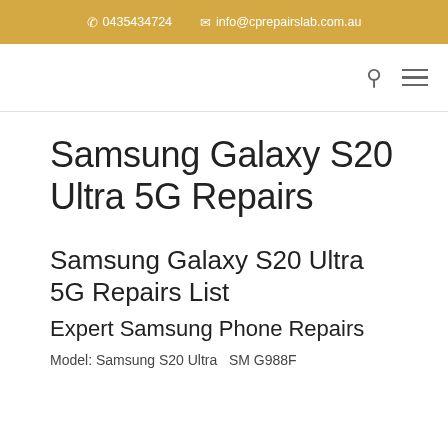0435434724   info@cprepairslab.com.au
Samsung Galaxy S20 Ultra 5G Repairs
Samsung Galaxy S20 Ultra 5G Repairs List
Expert Samsung Phone Repairs
Model: Samsung S20 Ultra  SM G988F